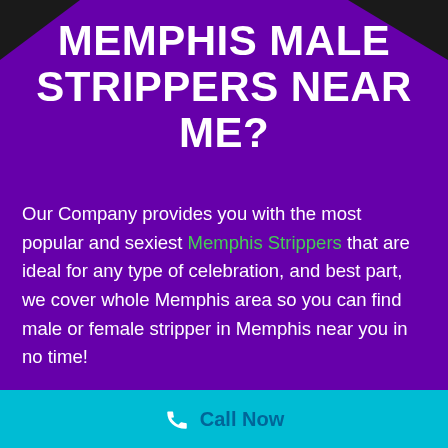MEMPHIS MALE STRIPPERS NEAR ME?
Our Company provides you with the most popular and sexiest Memphis Strippers that are ideal for any type of celebration, and best part, we cover whole Memphis area so you can find male or female stripper in Memphis near you in no time!
For over thirty years, customers have trusted our firm to offer them with hot and also professional unique dancers to make their unique occasion a complete hit. Your bachelorette event, birthday
Call Now